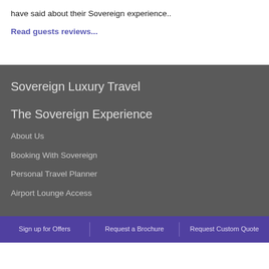have said about their Sovereign experience..
Read guests reviews...
Sovereign Luxury Travel
The Sovereign Experience
About Us
Booking With Sovereign
Personal Travel Planner
Airport Lounge Access
Sign up for Offers | Request a Brochure | Request Custom Quote